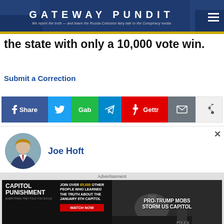GATEWAY PUNDIT — We report the truth — and leave the Russia-Collusion fairy tale to the Conspiracy media
the state with only a 10,000 vote win.
Submit a Correction
[Figure (other): Social media share buttons row: Facebook Share, Twitter, Gab, Telegram, Gettr, Email, Share]
[Figure (photo): Author photo of Joe Hoft — circular avatar portrait]
Joe Hoft
[Figure (other): Advertisement banner for Capitol Punishment: JOIN OVER 65,000 OTHER PEOPLE WHO LEARNED THE TRUTH ABOUT THE JANUARY 6TH CAPITOL. WATCH NOW. Pro-Trump Mobs Storm US Capitol.]